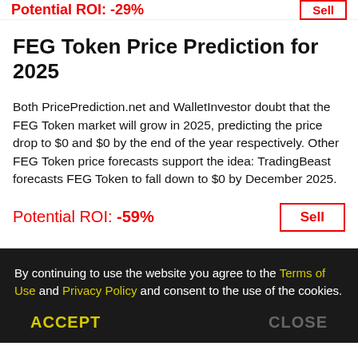Potential ROI: -29%   Sell
FEG Token Price Prediction for 2025
Both PricePrediction.net and WalletInvestor doubt that the FEG Token market will grow in 2025, predicting the price drop to $0 and $0 by the end of the year respectively. Other FEG Token price forecasts support the idea: TradingBeast forecasts FEG Token to fall down to $0 by December 2025.
Potential ROI: -59%   Sell
By continuing to use the website you agree to the Terms of Use and Privacy Policy and consent to the use of the cookies.
ACCEPT   CLOSE